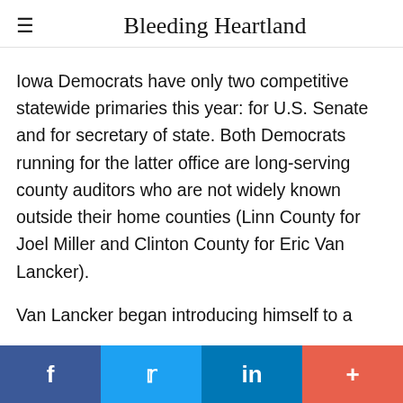Bleeding Heartland
Iowa Democrats have only two competitive statewide primaries this year: for U.S. Senate and for secretary of state. Both Democrats running for the latter office are long-serving county auditors who are not widely known outside their home counties (Linn County for Joel Miller and Clinton County for Eric Van Lancker).
Van Lancker began introducing himself to a
f  Twitter  in  +